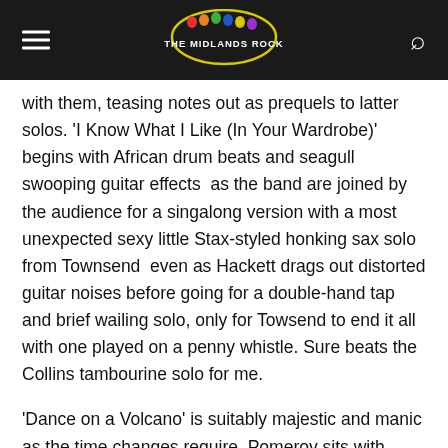The Midlands Rock
with them, teasing notes out as prequels to latter solos. 'I Know What I Like (In Your Wardrobe)' begins with African drum beats and seagull swooping guitar effects  as the band are joined by the audience for a singalong version with a most unexpected sexy little Stax-styled honking sax solo from Townsend  even as Hackett drags out distorted guitar noises before going for a double-hand tap and brief wailing solo, only for Towsend to end it all with one played on a penny whistle. Sure beats the Collins tambourine solo for me.
'Dance on a Volcano' is suitably majestic and manic as the time changes require. Pomeroy sits with electric 12 string in hand while Hackett returns to acoustic and as the crowd again roar out approvingly everyone knows now is not the time to take a toilet break because 'Suppers Ready'. The